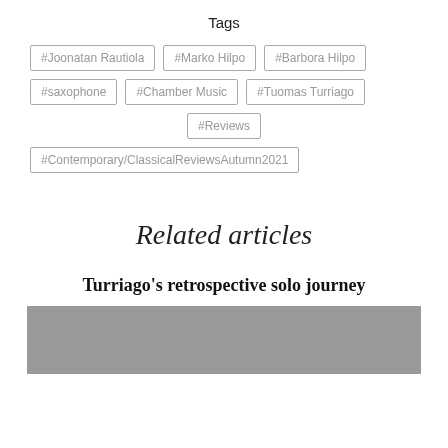Tags
#Joonatan Rautiola
#Marko Hilpo
#Barbora Hilpo
#saxophone
#Chamber Music
#Tuomas Turriago
#Reviews
#Contemporary/ClassicalReviewsAutumn2021
Related articles
Turriago's retrospective solo journey
[Figure (photo): Grey placeholder image for article thumbnail]